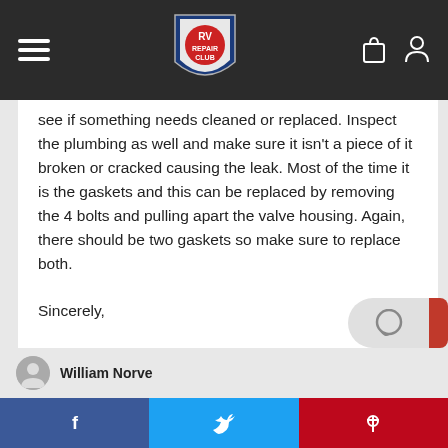RV Repair Club
see if something needs cleaned or replaced. Inspect the plumbing as well and make sure it isn't a piece of it broken or cracked causing the leak. Most of the time it is the gaskets and this can be replaced by removing the 4 bolts and pulling apart the valve housing. Again, there should be two gaskets so make sure to replace both.
Sincerely,

Dan
RV Repair Club Technical Expert
William Norve